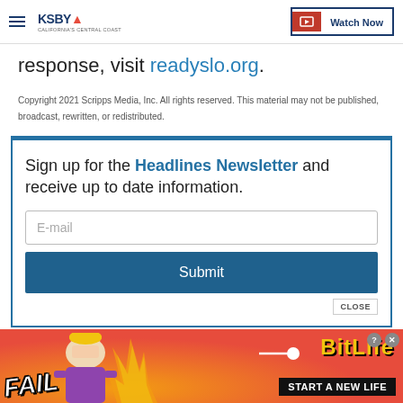KSBY - California's Central Coast | Watch Now
response, visit readyslo.org.
Copyright 2021 Scripps Media, Inc. All rights reserved. This material may not be published, broadcast, rewritten, or redistributed.
Sign up for the Headlines Newsletter and receive up to date information.
[Figure (screenshot): Email input field with placeholder 'E-mail' and a blue Submit button inside a newsletter signup box]
[Figure (photo): Advertisement banner for BitLife game showing 'FAIL' text, animated character, flames, and 'START A NEW LIFE' tagline on red background]